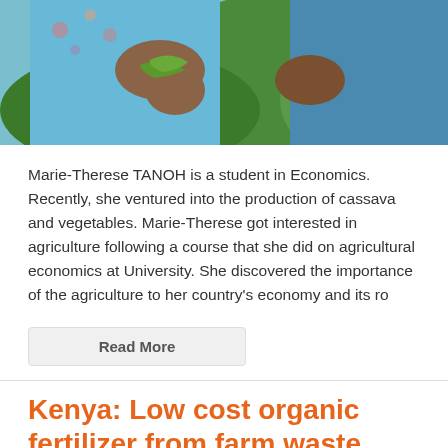[Figure (photo): Two people handling green vegetables or beans outdoors in a garden/farm setting. One person wearing a blue floral outfit.]
Marie-Therese TANOH is a student in Economics. Recently, she ventured into the production of cassava and vegetables. Marie-Therese got interested in agriculture following a course that she did on agricultural economics at University. She discovered the importance of the agriculture to her country's economy and its ro
Read More
Kenya: Low cost organic fertilizer from farm waste
AgribusinessTV   September 19, 2017   1388   3 Comments